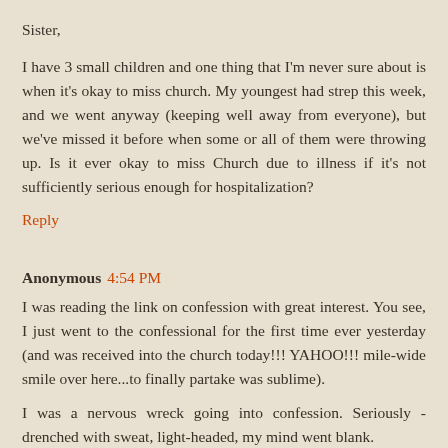Sister,
I have 3 small children and one thing that I'm never sure about is when it's okay to miss church. My youngest had strep this week, and we went anyway (keeping well away from everyone), but we've missed it before when some or all of them were throwing up. Is it ever okay to miss Church due to illness if it's not sufficiently serious enough for hospitalization?
Reply
Anonymous 4:54 PM
I was reading the link on confession with great interest. You see, I just went to the confessional for the first time ever yesterday (and was received into the church today!!! YAHOO!!! mile-wide smile over here...to finally partake was sublime).
I was a nervous wreck going into confession. Seriously - drenched with sweat, light-headed, my mind went blank.